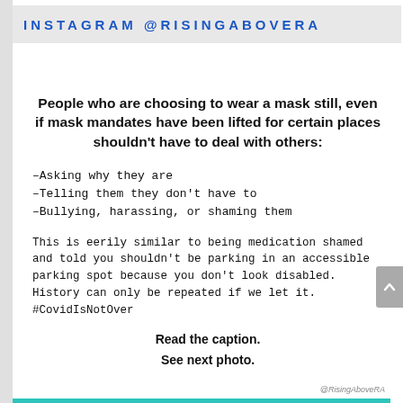INSTAGRAM @RISINGABOVERA
People who are choosing to wear a mask still, even if mask mandates have been lifted for certain places shouldn't have to deal with others:
-Asking why they are
-Telling them they don't have to
-Bullying, harassing, or shaming them
This is eerily similar to being medication shamed and told you shouldn't be parking in an accessible parking spot because you don't look disabled. History can only be repeated if we let it. #CovidIsNotOver
Read the caption.
See next photo.
@RisingAboveRA